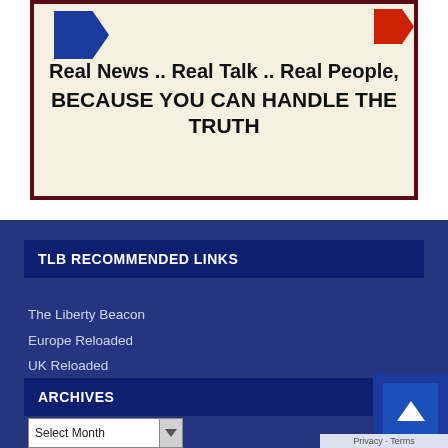[Figure (logo): The Liberty Beacon banner with blue and red flags, cream background and dark red border. Text reads: Real News .. Real Talk .. Real People, BECAUSE YOU CAN HANDLE THE TRUTH]
TLB RECOMMENDED LINKS
The Liberty Beacon
Europe Reloaded
UK Reloaded
ARCHIVES